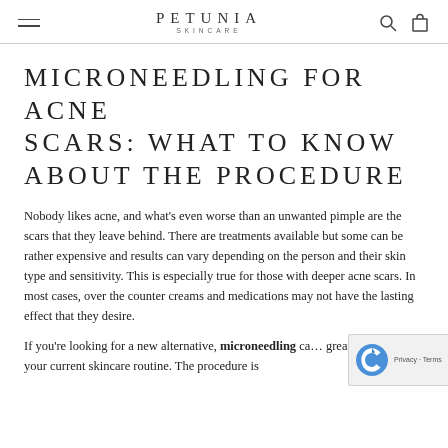PETUNIA SKINCARE
MICRONEEDLING FOR ACNE SCARS: WHAT TO KNOW ABOUT THE PROCEDURE
Nobody likes acne, and what's even worse than an unwanted pimple are the scars that they leave behind. There are treatments available but some can be rather expensive and results can vary depending on the person and their skin type and sensitivity. This is especially true for those with deeper acne scars. In most cases, over the counter creams and medications may not have the lasting effect that they desire.
If you're looking for a new alternative, microneedling can be a great addition to your current skincare routine. The procedure is